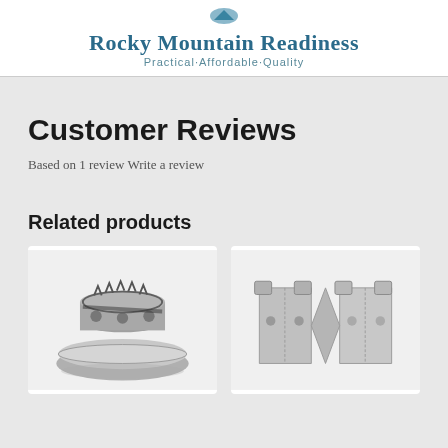Rocky Mountain Readiness
Practical-Affordable-Quality
Customer Reviews
Based on 1 review Write a review
Related products
[Figure (photo): Metal camp stove burner ring with serrated top edge and holes, sitting in a shallow metal bowl/base]
[Figure (photo): Folding metal camp stove stand/windscreen with bracket-shaped sides, shown unfolded in an X configuration]